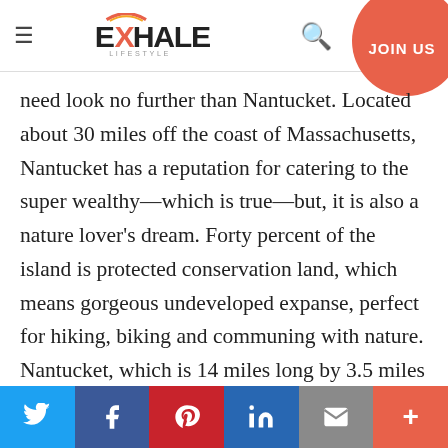EXHALE LIFESTYLE — JOIN US
need look no further than Nantucket. Located about 30 miles off the coast of Massachusetts, Nantucket has a reputation for catering to the super wealthy—which is true—but, it is also a nature lover's dream. Forty percent of the island is protected conservation land, which means gorgeous undeveloped expanse, perfect for hiking, biking and communing with nature. Nantucket, which is 14 miles long by 3.5 miles wide, is easy to get around by bike, so you can leave your car on the mainland.
Twitter | Facebook | Pinterest | LinkedIn | Email | More